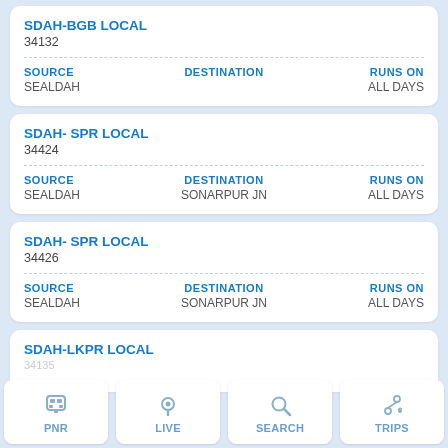SDAH-BGB LOCAL
34132
SOURCE: SEALDAH | DESTINATION: | RUNS ON: ALL DAYS
SDAH- SPR LOCAL
34424
SOURCE: SEALDAH | DESTINATION: SONARPUR JN | RUNS ON: ALL DAYS
SDAH- SPR LOCAL
34426
SOURCE: SEALDAH | DESTINATION: SONARPUR JN | RUNS ON: ALL DAYS
SDAH-LKPR LOCAL
PNR | LIVE | SEARCH | TRIPS